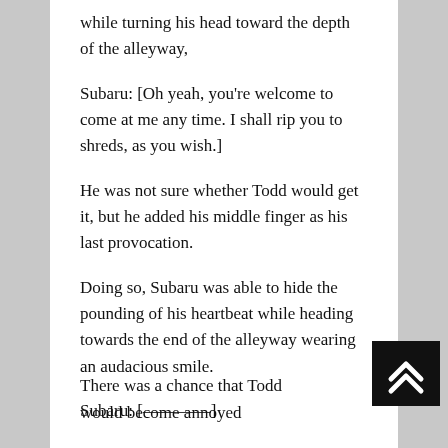while turning his head toward the depth of the alleyway,
Subaru: [Oh yeah, you're welcome to come at me any time. I shall rip you to shreds, as you wish.]
He was not sure whether Todd would get it, but he added his middle finger as his last provocation.
Doing so, Subaru was able to hide the pounding of his heartbeat while heading towards the end of the alleyway wearing an audacious smile.
Subaru: [————]
Honestly, that was a complete gamble.
There was a chance that Todd would become annoyed